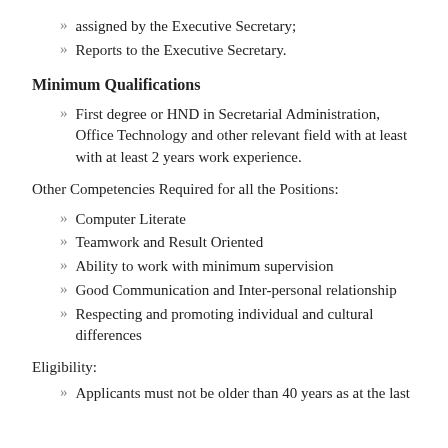assigned by the Executive Secretary;
Reports to the Executive Secretary.
Minimum Qualifications
First degree or HND in Secretarial Administration, Office Technology and other relevant field with at least with at least 2 years work experience.
Other Competencies Required for all the Positions:
Computer Literate
Teamwork and Result Oriented
Ability to work with minimum supervision
Good Communication and Inter-personal relationship
Respecting and promoting individual and cultural differences
Eligibility:
Applicants must not be older than 40 years as at the last